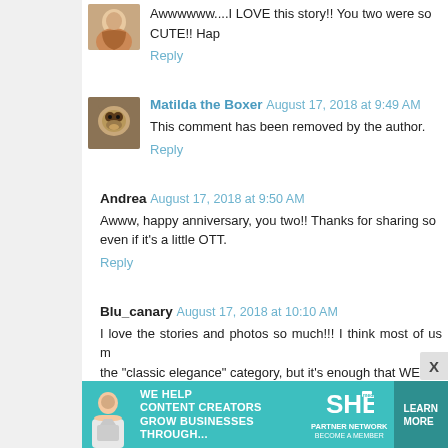Awwwwww....I LOVE this story!! You two were so CUTE!! Hap
Reply
Matilda the Boxer  August 17, 2018 at 9:49 AM
This comment has been removed by the author.
Reply
Andrea  August 17, 2018 at 9:50 AM
Awww, happy anniversary, you two!! Thanks for sharing so even if it's a little OTT.
Reply
Blu_canary  August 17, 2018 at 10:10 AM
I love the stories and photos so much!!! I think most of us m the "classic elegance" category, but it's enough that WE k Happy anniversary, you crazy kids!
Reply
[Figure (infographic): SHE Partner Network advertisement banner: woman with laptop, text WE HELP CONTENT CREATORS GROW BUSINESSES THROUGH..., SHE logo, LEARN MORE button]